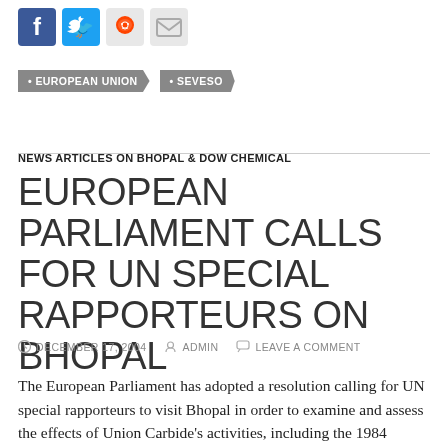[Figure (other): Social media sharing icons: Facebook, Twitter, Reddit, Email]
EUROPEAN UNION
SEVESO
NEWS ARTICLES ON BHOPAL & DOW CHEMICAL
EUROPEAN PARLIAMENT CALLS FOR UN SPECIAL RAPPORTEURS ON BHOPAL
DECEMBER 17, 2004   ADMIN   LEAVE A COMMENT
The European Parliament has adopted a resolution calling for UN special rapporteurs to visit Bhopal in order to examine and assess the effects of Union Carbide's activities, including the 1984 disaster and subsequent poisoning of water by toxic chemicals abandoned by the company in its now-derelict...